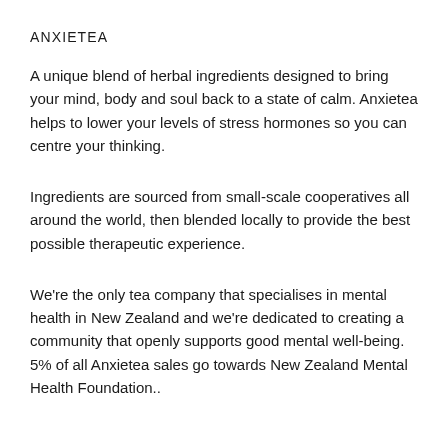ANXIETEA
A unique blend of herbal ingredients designed to bring your mind, body and soul back to a state of calm. Anxietea helps to lower your levels of stress hormones so you can centre your thinking.
Ingredients are sourced from small-scale cooperatives all around the world, then blended locally to provide the best possible therapeutic experience.
We're the only tea company that specialises in mental health in New Zealand and we're dedicated to creating a community that openly supports good mental well-being. 5% of all Anxietea sales go towards New Zealand Mental Health Foundation..